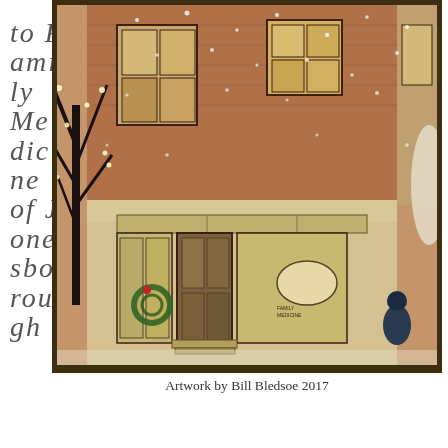to Family Medicine of Jonesborough
[Figure (illustration): Painting of a brick storefront building in winter with snow falling, Christmas wreath on door, illuminated windows, bare tree with lights, and a figure in the foreground. Artwork by Bill Bledsoe 2017.]
Artwork by Bill Bledsoe 2017